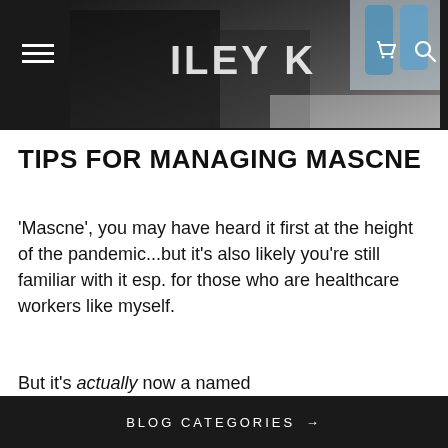[Figure (photo): Website header with dark background, partial photo of a person in a clinical/beauty setting, navigation hamburger menu on left, partial logo text 'ILEY K' visible, cart and search icons on right]
TIPS FOR MANAGING MASCNE
'Mascne', you may have heard it first at the height of the pandemic...but it's also likely you're still familiar with it esp. for those who are healthcare workers like myself.
But it's actually now a named
BLOG CATEGORIES →